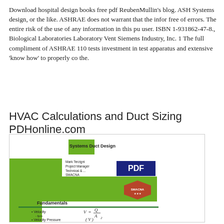Download hospital design books free pdf ReubenMullin's blog. ASH Systems design, or the like. ASHRAE does not warrant that the infor free of errors. The entire risk of the use of any information in this pu user. ISBN 1-931862-47-8., Biological Laboratories Laboratory Vent Siemens Industry, Inc. 1 The full compliment of ASHRAE 110 tests investment in test apparatus and extensive 'know how' to properly co the.
HVAC Calculations and Duct Sizing PDHonline.com
[Figure (screenshot): Thumbnail image of a PDF book cover for 'Systems Duct Design' with green design elements, SMACNA logo, PDF badge overlay, author name Mark Terzigni, and fundamentals section showing velocity formula V = Q/A and velocity pressure formula.]